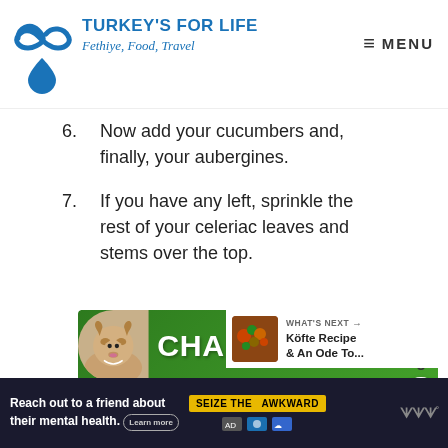TURKEY'S FOR LIFE — Fethiye, Food, Travel — MENU
6. Now add your cucumbers and, finally, your aubergines.
7. If you have any left, sprinkle the rest of your celeriac leaves and stems over the top.
[Figure (illustration): Advertisement banner with green background, a dog image on left, and bold white text reading CHANGE A LIFE with a heart icon]
[Figure (infographic): What's Next panel: Köfte Recipe & An Ode To... with a food thumbnail image]
Reach out to a friend about their mental health. Learn more — SEIZE THE AWKWARD